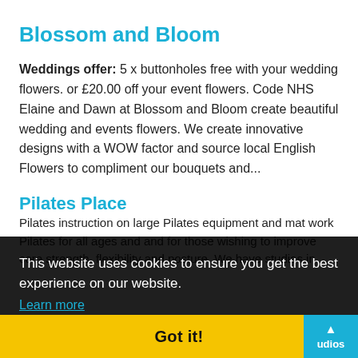Blossom and Bloom
Weddings offer: 5 x buttonholes free with your wedding flowers. or £20.00 off your event flowers. Code NHS Elaine and Dawn at Blossom and Bloom create beautiful wedding and events flowers. We create innovative designs with a WOW factor and source local English Flowers to compliment our bouquets and...
Pilates Place
Pilates instruction on large Pilates equipment and mat work Pilates for all ages and and for those wishing to improve core strength, flexibility and posture. We have studios in....
This website uses cookies to ensure you get the best experience on our website.
Learn more
Got it!